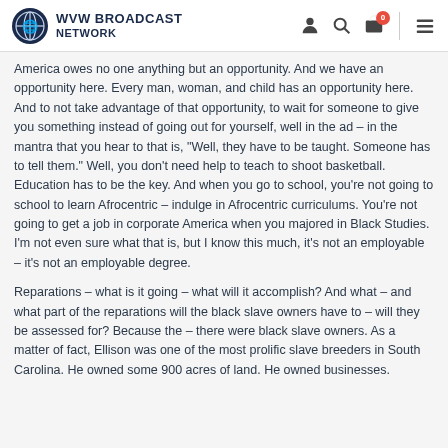WVW BROADCAST NETWORK
America owes no one anything but an opportunity.  And we have an opportunity here.  Every man, woman, and child has an opportunity here.  And to not take advantage of that opportunity, to wait for someone to give you something instead of going out for yourself, well in the ad – in the mantra that you hear to that is, "Well, they have to be taught.  Someone has to tell them."  Well, you don't need help to teach to shoot basketball.  Education has to be the key.  And when you go to school, you're not going to school to learn Afrocentric – indulge in Afrocentric curriculums.  You're not going to get a job in corporate America when you majored in Black Studies.  I'm not even sure what that is, but I know this much, it's not an employable – it's not an employable degree.
Reparations – what is it going – what will it accomplish?  And what – and what part of the reparations will the black slave owners have to – will they be assessed for?  Because the – there were black slave owners.  As a matter of fact, Ellison was one of the most prolific slave breeders in South Carolina.  He owned some 900 acres of land.  He owned businesses.